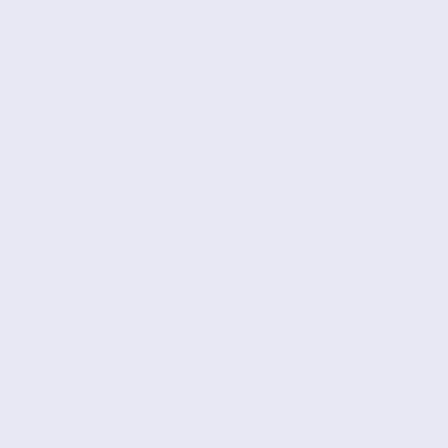class="productSpecialPrice">$255.00</span><span class="pro <br />Poupe:&nbsp;2% menos</span><br /><br /><a href="http://www.pradaoutletonline.top/pt/homens-c-1.html?products_id=7573&action=buy_now&sort=20a"><img src="http://www.pradaoutletonline.top/pt/includes/templates/po alt="Comprar agora" title=" Comprar agora " width="111" heig class="listingBuyNowButton" /></a><br /><br /></div> <br class="clearBoth" /><div class="centerBoxContentsProdu back" style="width:32.5%;"><a href="http://www.pradaoutleto prada-va0252-viagem-de-preto-p-5838.html"><div style="verti middle;height:150px"><img src="http://www.pradaoutletonline.top/pt/images/_small//pradaG Bags/Prada-VA0252-Travel-Bags-in-Black.jpg" alt="Bolsas Pra de Preto" title=" Bolsas Prada VA0252 Viagem de Preto " width height="150" class="listingProductImage" id="listimg" /></div class="itemTitle"><a href="http://www.pradaoutletonline.top/p va0252-viagem-de-preto-p-5838.html">Bolsas Prada VA0252 V </h3><div class="listingDescription">Tamanho: 30 * 6 * 12 Es conveniente para levar e levar a...</div><br /><span class="nor </span>&nbsp;<span class="productSpecialPrice">$255.00</sp class="productPriceDiscount"><br />Poupe:&nbsp;29% menos <a href="http://www.pradaoutletonline.top/pt/homens-c-1.html? products_id=5838&action=buy_now&sort=20a"><img src="http://www.pradaoutletonline.top/pt/includes/templates/po alt="Comprar agora" title=" Comprar agora " width="111" heig